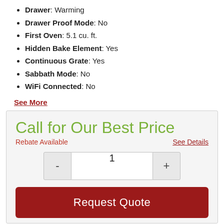Drawer: Warming
Drawer Proof Mode: No
First Oven: 5.1 cu. ft.
Hidden Bake Element: Yes
Continuous Grate: Yes
Sabbath Mode: No
WiFi Connected: No
See More
Call for Our Best Price
Rebate Available
See Details
1
Request Quote
Share This Item